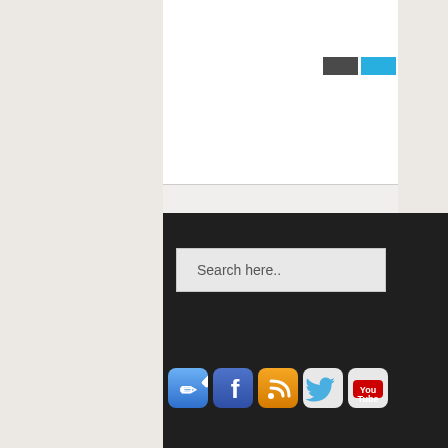[Figure (screenshot): Top white section with dark gray and cyan/blue rectangular buttons in the upper right area]
[Figure (screenshot): Search input box with placeholder text 'Search here..' on dark background]
[Figure (infographic): Row of 5 social media icon buttons: a blue pen/write icon, Facebook icon, RSS feed icon (orange), Twitter icon, and YouTube icon, on dark background]